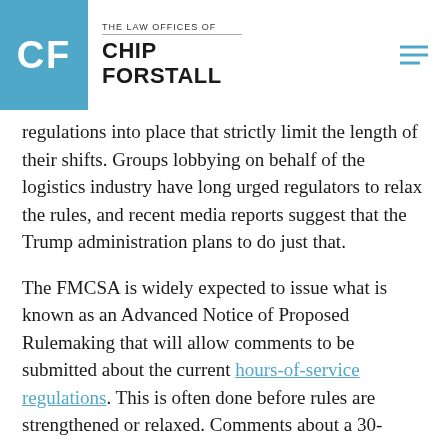THE LAW OFFICES OF CHIP FORSTALL
regulations into place that strictly limit the length of their shifts. Groups lobbying on behalf of the logistics industry have long urged regulators to relax the rules, and recent media reports suggest that the Trump administration plans to do just that.
The FMCSA is widely expected to issue what is known as an Advanced Notice of Proposed Rulemaking that will allow comments to be submitted about the current hours-of-service regulations. This is often done before rules are strengthened or relaxed. Comments about a 30-